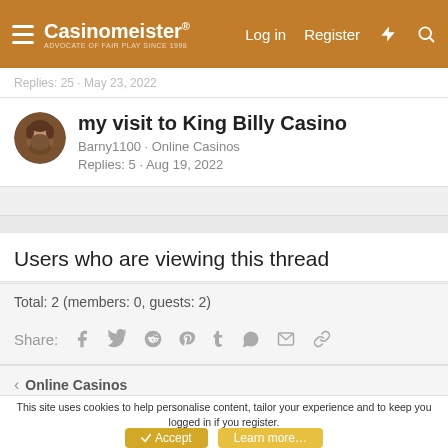Casinomeister® — Log in  Register
Replies: 25 · May 23, 2022
my visit to King Billy Casino
Barny1100 · Online Casinos
Replies: 5 · Aug 19, 2022
Users who are viewing this thread
Total: 2 (members: 0, guests: 2)
Share:
< Online Casinos
This site uses cookies to help personalise content, tailor your experience and to keep you logged in if you register.
By continuing to use this site, you are consenting to our use of cookies.